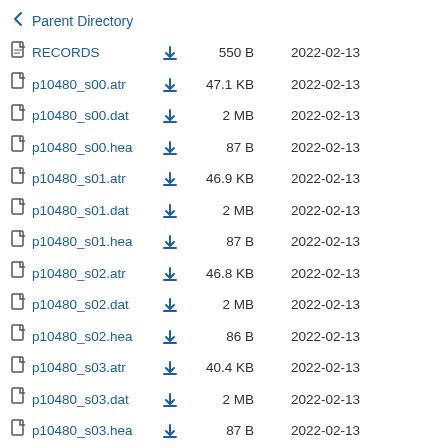Parent Directory
RECORDS  550 B  2022-02-13
p10480_s00.atr  47.1 KB  2022-02-13
p10480_s00.dat  2 MB  2022-02-13
p10480_s00.hea  87 B  2022-02-13
p10480_s01.atr  46.9 KB  2022-02-13
p10480_s01.dat  2 MB  2022-02-13
p10480_s01.hea  87 B  2022-02-13
p10480_s02.atr  46.8 KB  2022-02-13
p10480_s02.dat  2 MB  2022-02-13
p10480_s02.hea  86 B  2022-02-13
p10480_s03.atr  40.4 KB  2022-02-13
p10480_s03.dat  2 MB  2022-02-13
p10480_s03.hea  87 B  2022-02-13